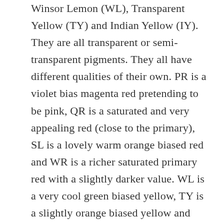Winsor Lemon (WL), Transparent Yellow (TY) and Indian Yellow (IY). They are all transparent or semi-transparent pigments. They all have different qualities of their own. PR is a violet bias magenta red pretending to be pink, QR is a saturated and very appealing red (close to the primary), SL is a lovely warm orange biased red and WR is a richer saturated primary red with a slightly darker value. WL is a very cool green biased yellow, TY is a slightly orange biased yellow and Indian yellow is a very orange biased rich yellow. Let's see how these colours mix together and what the results are like. You could add many more reds to this experiment such as Permanent Carmine, Perylene Maroon, Quinacridone Magenta and Permanent Alizarin Crimson. If you try mixing all these variations too you will discover a million different tones of red and orange!